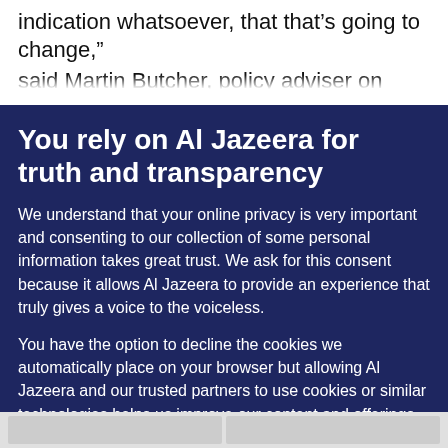indication whatsoever, that that’s going to change,”
said Martin Butcher, policy adviser on arms and
You rely on Al Jazeera for truth and transparency
We understand that your online privacy is very important and consenting to our collection of some personal information takes great trust. We ask for this consent because it allows Al Jazeera to provide an experience that truly gives a voice to the voiceless.
You have the option to decline the cookies we automatically place on your browser but allowing Al Jazeera and our trusted partners to use cookies or similar technologies helps us improve our content and offerings to you. You can change your privacy preferences at any time by selecting ‘Cookie preferences’ at the bottom of your screen. To learn more, please view our Cookie Policy.